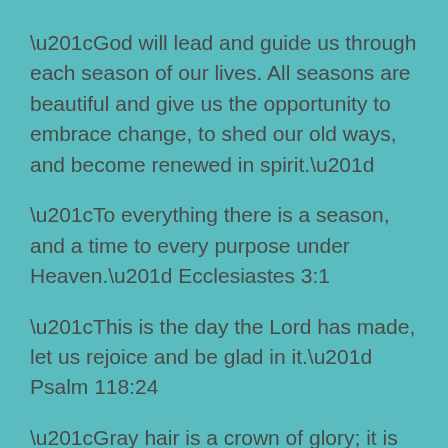“God will lead and guide us through each season of our lives. All seasons are beautiful and give us the opportunity to embrace change, to shed our old ways, and become renewed in spirit.”
“To everything there is a season, and a time to every purpose under Heaven.” Ecclesiastes 3:1
“This is the day the Lord has made, let us rejoice and be glad in it.” Psalm 118:24
“Gray hair is a crown of glory; it is gained in a righteous life.” Proverbs 16:31